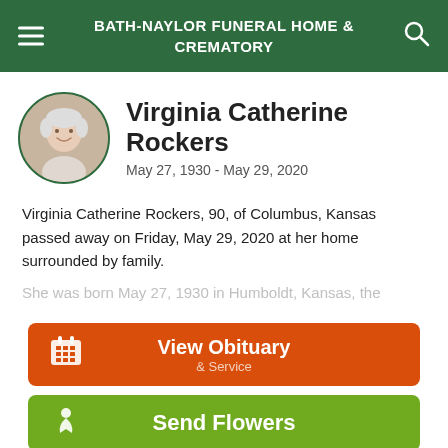BATH-NAYLOR FUNERAL HOME & CREMATORY
[Figure (photo): Circular portrait photo of Virginia Catherine Rockers, an elderly woman with white hair, smiling.]
Virginia Catherine Rockers
May 27, 1930 - May 29, 2020
Virginia Catherine Rockers, 90, of Columbus, Kansas passed away on Friday, May 29, 2020 at her home surrounded by family.
She was born May 27, 1930 in Humboldt, Kansas, the
View Obituary & Service
Send Flowers